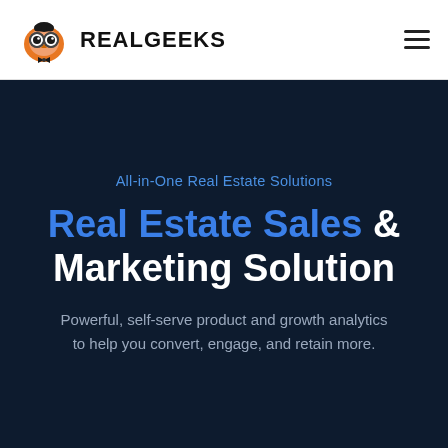[Figure (logo): RealGeeks logo: cartoon owl mascot with big round eyes and orange head, next to bold uppercase text REALGEEKS]
RealGeeks
All-in-One Real Estate Solutions
Real Estate Sales & Marketing Solution
Powerful, self-serve product and growth analytics to help you convert, engage, and retain more.